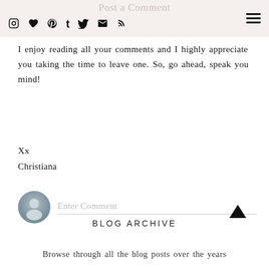Post a Comment
I enjoy reading all your comments and I highly appreciate you taking the time to leave one. So, go ahead, speak you mind!
Xx
Christiana
[Figure (other): Comment input field with generic user avatar icon and placeholder text 'Enter Comment']
BLOG ARCHIVE
Browse through all the blog posts over the years